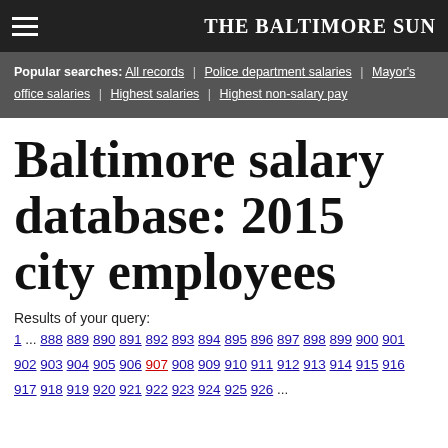THE BALTIMORE SUN
Popular searches: All records | Police department salaries | Mayor's office salaries | Highest salaries | Highest non-salary pay
Baltimore salary database: 2015 city employees
Results of your query:
1 ... 888 889 890 891 892 893 894 895 896 897 898 899 900 901 902 903 904 905 906 907 908 909 910 911 912 913 914 915 916 917 918 919 920 921 922 923 924 925 926 ...